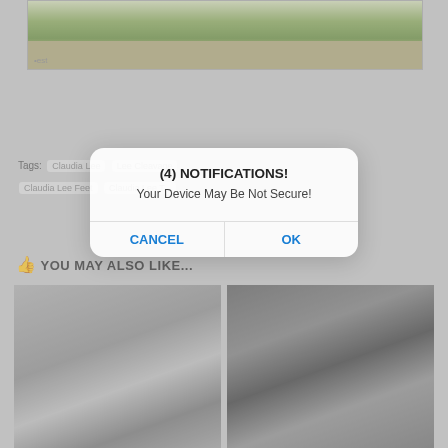[Figure (photo): Photo of a grassy outdoor field scene, partial view at top of page]
Tags: Claudia Lee    Lee Cleavage
Claudia Lee Feet   Claudia Lee T...
👍 YOU MAY ALSO LIKE...
[Figure (screenshot): Popup dialog: (4) NOTIFICATIONS! Your Device May Be Not Secure! with CANCEL and OK buttons]
[Figure (photo): Black and white photo of a bald person blowing a bubble]
[Figure (photo): Black and white photo of a person lying down]